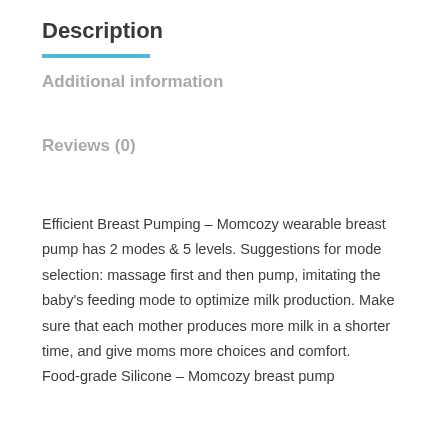Description
Additional information
Reviews (0)
Efficient Breast Pumping – Momcozy wearable breast pump has 2 modes & 5 levels. Suggestions for mode selection: massage first and then pump, imitating the baby's feeding mode to optimize milk production. Make sure that each mother produces more milk in a shorter time, and give moms more choices and comfort. Food-grade Silicone – Momcozy breast pump